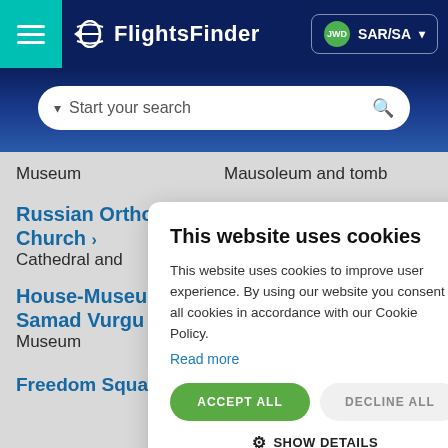[Figure (screenshot): FlightsFinder website header with teal hamburger menu, dark navy background, logo, and SAR/SA currency selector]
[Figure (screenshot): Search bar with 'Start your search' placeholder text on gradient navy background]
Museum
Mausoleum and tomb
Russian Orthodox Church >
Cathedral and
This website uses cookies
This website uses cookies to improve user experience. By using our website you consent to all cookies in accordance with our Cookie Policy.
Read more
ACCEPT ALL
DECLINE ALL
SHOW DETAILS
House-Museum Samad Vurgu
Museum
Freedom Square >
Khazar Islands >